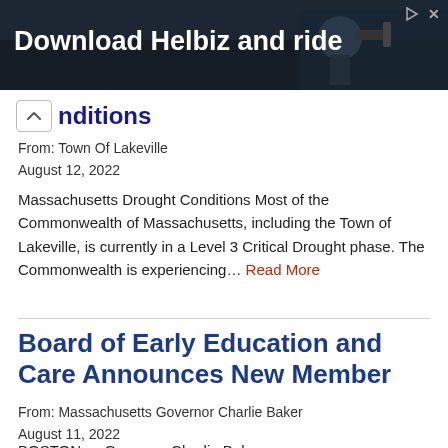[Figure (photo): Advertisement banner showing a person with camera equipment, text 'Download Helbiz and ride' in white on dark background]
nditions
From: Town Of Lakeville
August 12, 2022
Massachusetts Drought Conditions Most of the Commonwealth of Massachusetts, including the Town of Lakeville, is currently in a Level 3 Critical Drought phase. The Commonwealth is experiencing… Read More
Board of Early Education and Care Announces New Member
From: Massachusetts Governor Charlie Baker
August 11, 2022
BOSTON — Governor Charlie Baker...